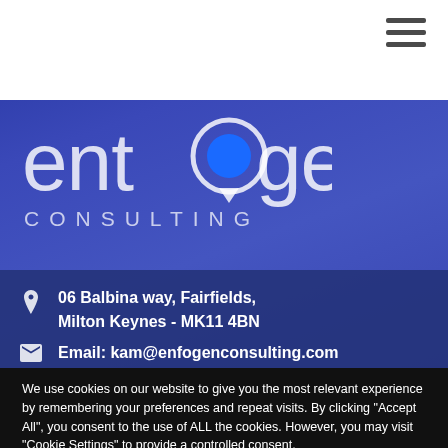[Figure (logo): Enfogen Consulting logo with blue circle replacing the 'o' in 'enfogen', white text on blue/purple gradient background, with 'CONSULTING' in spaced capitals below]
06 Balbina way, Fairfields, Milton Keynes - MK11 4BN
Email: kam@enfogenconsulting.com
We use cookies on our website to give you the most relevant experience by remembering your preferences and repeat visits. By clicking "Accept All", you consent to the use of ALL the cookies. However, you may visit "Cookie Settings" to provide a controlled consent.
Cookie Settings
Accept All